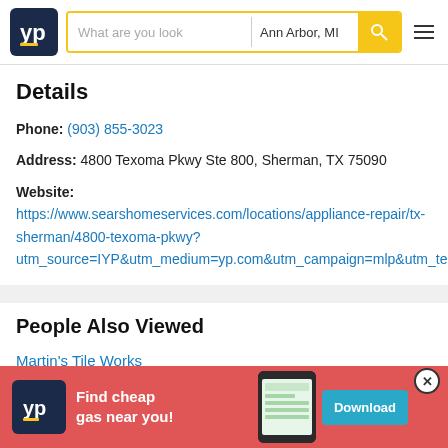[Figure (logo): YellowPages (YP) website header with logo, search bar showing 'What are you look' placeholder and 'Ann Arbor, MI' location, yellow search button, and hamburger menu]
Details
Phone: (903) 855-3023
Address: 4800 Texoma Pkwy Ste 800, Sherman, TX 75090
Website: https://www.searshomeservices.com/locations/appliance-repair/tx-sherman/4800-texoma-pkwy?utm_source=IYP&utm_medium=yp.com&utm_campaign=mlp&utm_term=2627
People Also Viewed
Martin's Tile Works
The Col
[Figure (screenshot): YP mobile app advertisement banner: 'Find cheap gas near you!' with Download button]